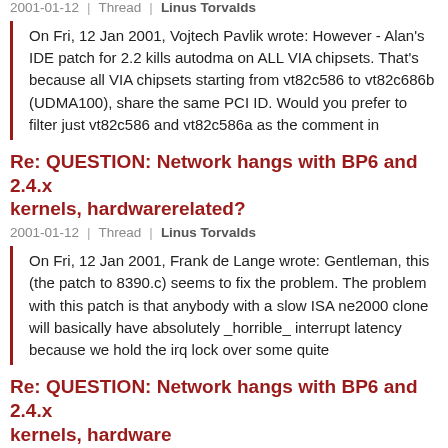2001-01-12 | Thread | Linus Torvalds
On Fri, 12 Jan 2001, Vojtech Pavlik wrote: However - Alan's IDE patch for 2.2 kills autodma on ALL VIA chipsets. That's because all VIA chipsets starting from vt82c586 to vt82c686b (UDMA100), share the same PCI ID. Would you prefer to filter just vt82c586 and vt82c586a as the comment in
Re: QUESTION: Network hangs with BP6 and 2.4.x kernels, hardwarerelated?
2001-01-12 | Thread | Linus Torvalds
On Fri, 12 Jan 2001, Frank de Lange wrote: Gentleman, this (the patch to 8390.c) seems to fix the problem. The problem with this patch is that anybody with a slow ISA ne2000 clone will basically have absolutely _horrible_ interrupt latency because we hold the irq lock over some quite
Re: QUESTION: Network hangs with BP6 and 2.4.x kernels, hardware
2001-01-12 | Thread | Linus Torvalds
On Fri, 12 Jan 2001, Alan Cox wrote: interrupt controllers (io-apic definitely included). Drivers would generally be better off if they disabled their own chip from sending interrupts, rather than disabling the interrupt line the chip is on. That doesn't